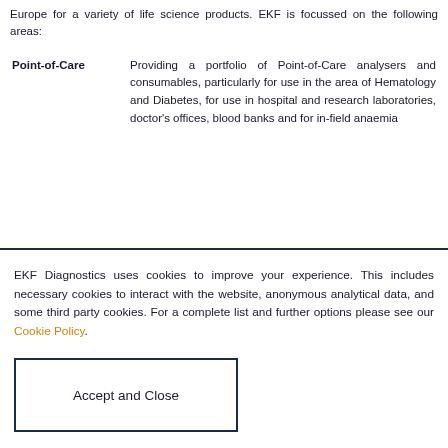Europe for a variety of life science products. EKF is focussed on the following areas:
Point-of-Care — Providing a portfolio of Point-of-Care analysers and consumables, particularly for use in the area of Hematology and Diabetes, for use in hospital and research laboratories, doctor's offices, blood banks and for in-field anaemia
EKF Diagnostics uses cookies to improve your experience. This includes necessary cookies to interact with the website, anonymous analytical data, and some third party cookies. For a complete list and further options please see our Cookie Policy.
Accept and Close